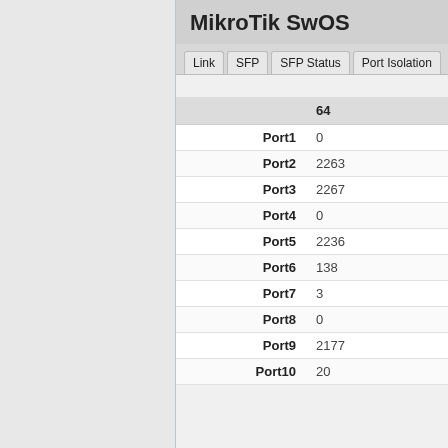MikroTik SwOS
Link | SFP | SFP Status | Port Isolation
|  | 64 |
| --- | --- |
| Port1 | 0 |
| Port2 | 2263 |
| Port3 | 2267 |
| Port4 | 0 |
| Port5 | 2236 |
| Port6 | 138 |
| Port7 | 3 |
| Port8 | 0 |
| Port9 | 2177 |
| Port10 | 20 |